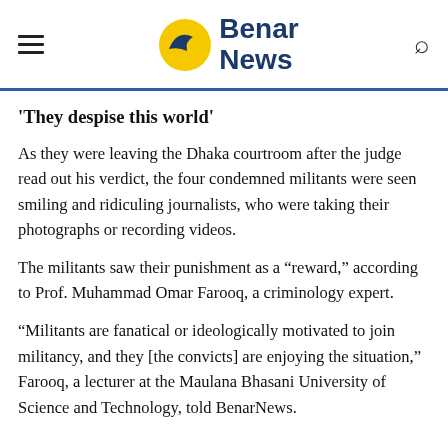Benar News
‘They despise this world’
As they were leaving the Dhaka courtroom after the judge read out his verdict, the four condemned militants were seen smiling and ridiculing journalists, who were taking their photographs or recording videos.
The militants saw their punishment as a “reward,” according to Prof. Muhammad Omar Farooq, a criminology expert.
“Militants are fanatical or ideologically motivated to join militancy, and they [the convicts] are enjoying the situation,” Farooq, a lecturer at the Maulana Bhasani University of Science and Technology, told BenarNews.